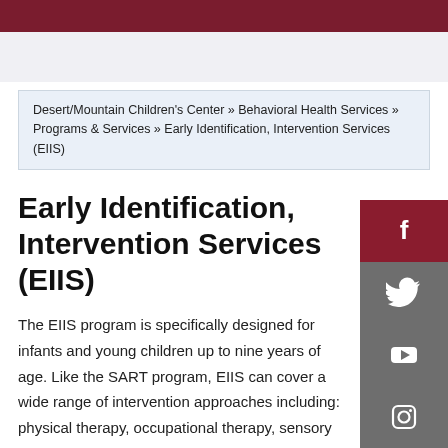Dark red header bar
Desert/Mountain Children's Center » Behavioral Health Services » Programs & Services » Early Identification, Intervention Services (EIIS)
Early Identification, Intervention Services (EIIS)
The EIIS program is specifically designed for infants and young children up to nine years of age. Like the SART program, EIIS can cover a wide range of intervention approaches including: physical therapy, occupational therapy, sensory integration, and speech and language development therapy. EIIS is specifically for infants and young children who may display some type of developmental, behavioral concern or who are